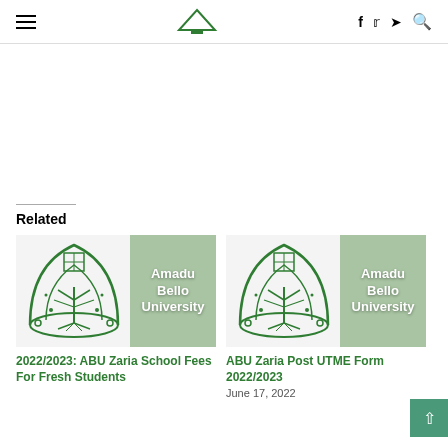Navigation header with hamburger menu, site logo, and social icons (f, twitter, telegram, search)
[Figure (other): Advertisement/blank area]
Related
[Figure (illustration): Card image: ABU Zaria logo with green overlay text 'Amadu Bello University' — article: 2022/2023: ABU Zaria School Fees For Fresh Students]
2022/2023: ABU Zaria School Fees For Fresh Students
[Figure (illustration): Card image: ABU Zaria logo with green overlay text 'Amadu Bello University' — article: ABU Zaria Post UTME Form 2022/2023]
ABU Zaria Post UTME Form 2022/2023
June 17, 2022